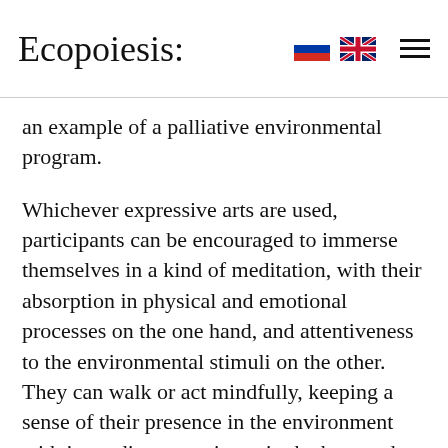Ecopoiesis:
an example of a palliative environmental program.
Whichever expressive arts are used, participants can be encouraged to immerse themselves in a kind of meditation, with their absorption in physical and emotional processes on the one hand, and attentiveness to the environmental stimuli on the other. They can walk or act mindfully, keeping a sense of their presence in the environment with immediate experience in the here and now, appreciating their physical contact with the natural objects and sensory qualities of the ‘green space’ with its ‘field effects’.
Mindfulness-based environmental